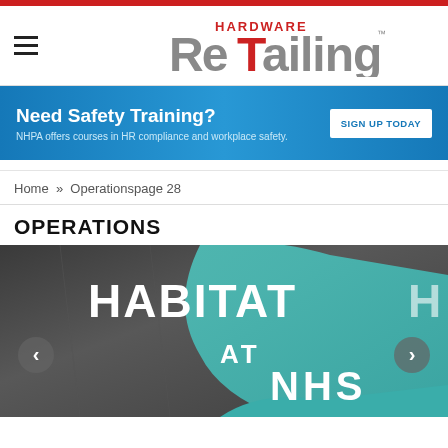Hardware ReTailing
[Figure (logo): Hardware ReTailing magazine logo with large grey 3D lettering and red 'T' highlight]
[Figure (infographic): Advertisement banner: Need Safety Training? NHPA offers courses in HR compliance and workplace safety. SIGN UP TODAY button.]
Home » Operationspage 28
OPERATIONS
[Figure (photo): Photo of a trade show or event venue sign reading 'HABITAT AT NHS' with a teal decorative swoosh shape, navigation arrows on left and right sides.]